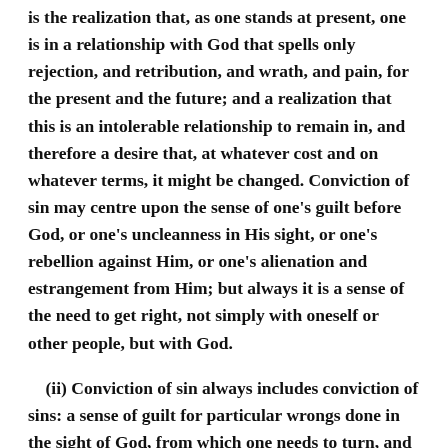is the realization that, as one stands at present, one is in a relationship with God that spells only rejection, and retribution, and wrath, and pain, for the present and the future; and a realization that this is an intolerable relationship to remain in, and therefore a desire that, at whatever cost and on whatever terms, it might be changed. Conviction of sin may centre upon the sense of one's guilt before God, or one's uncleanness in His sight, or one's rebellion against Him, or one's alienation and estrangement from Him; but always it is a sense of the need to get right, not simply with oneself or other people, but with God.
(ii) Conviction of sin always includes conviction of sins: a sense of guilt for particular wrongs done in the sight of God, from which one needs to turn, and be rid of them, if one is ever to be right with God. Thus, Isaiah